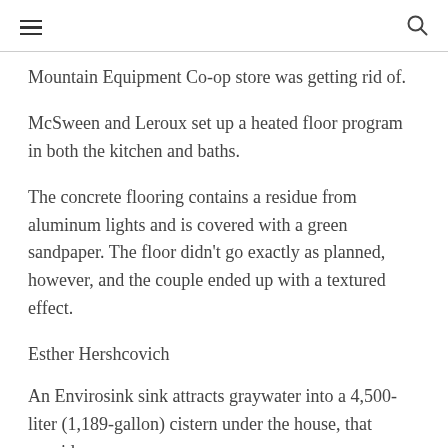☰  🔍
Mountain Equipment Co-op store was getting rid of.
McSween and Leroux set up a heated floor program in both the kitchen and baths.
The concrete flooring contains a residue from aluminum lights and is covered with a green sandpaper. The floor didn't go exactly as planned, however, and the couple ended up with a textured effect.
Esther Hershcovich
An Envirosink sink attracts graywater into a 4,500-liter (1,189-gallon) cistern under the house, that provides